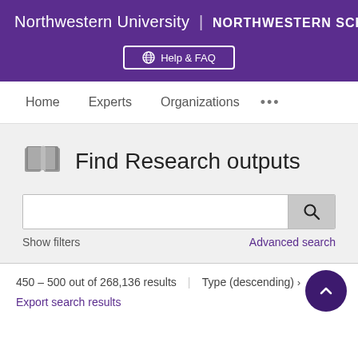Northwestern University | NORTHWESTERN SCHOLARS
Help & FAQ
Home   Experts   Organizations   ...
Find Research outputs
Show filters
Advanced search
450 – 500 out of 268,136 results   |   Type (descending) ›
Export search results